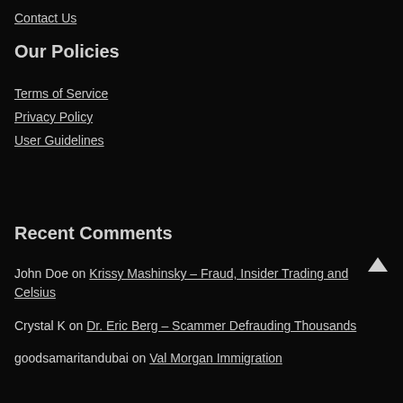Contact Us
Our Policies
Terms of Service
Privacy Policy
User Guidelines
Recent Comments
John Doe on Krissy Mashinsky – Fraud, Insider Trading and Celsius
Crystal K on Dr. Eric Berg – Scammer Defrauding Thousands
goodsamaritandubai on Val Morgan Immigration